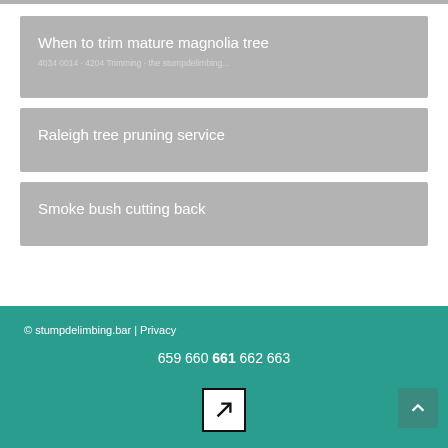When to trim mature magnolia tree
Raleigh tree pruning service
Smoke bush cutting back
© stumpdelimbing.bar | Privacy
659 660 661 662 663